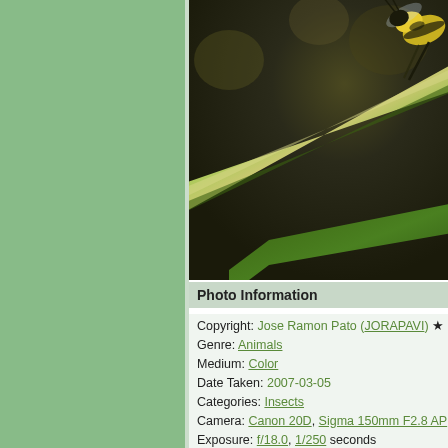[Figure (photo): Macro photograph of an insect (bee or wasp) perched on a green plant stem, with bokeh background. Yellow and black insect visible at top right, green stem crossing diagonally.]
Photo Information
Copyright: Jose Ramon Pato (JORAPAVI)
Genre: Animals
Medium: Color
Date Taken: 2007-03-05
Categories: Insects
Camera: Canon 20D, Sigma 150mm F2.8 AP
Exposure: f/18.0, 1/250 seconds